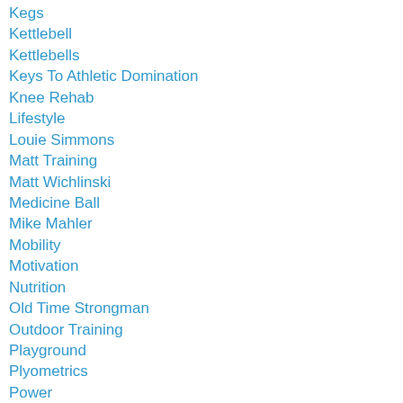Kegs
Kettlebell
Kettlebells
Keys To Athletic Domination
Knee Rehab
Lifestyle
Louie Simmons
Matt Training
Matt Wichlinski
Medicine Ball
Mike Mahler
Mobility
Motivation
Nutrition
Old Time Strongman
Outdoor Training
Playground
Plyometrics
Power
Power Clean
Preparation